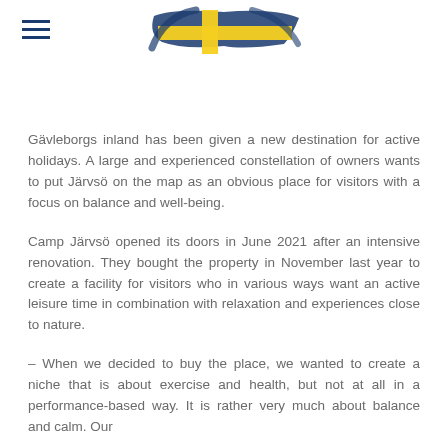Sweden Culture
Gävleborgs inland has been given a new destination for active holidays. A large and experienced constellation of owners wants to put Järvsö on the map as an obvious place for visitors with a focus on balance and well-being.
Camp Järvsö opened its doors in June 2021 after an intensive renovation. They bought the property in November last year to create a facility for visitors who in various ways want an active leisure time in combination with relaxation and experiences close to nature.
– When we decided to buy the place, we wanted to create a niche that is about exercise and health, but not at all in a performance-based way. It is rather very much about balance and calm. Our